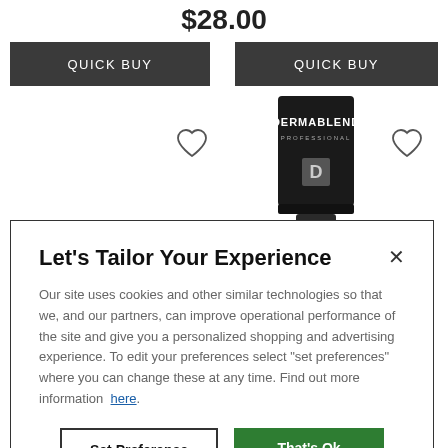$28.00
QUICK BUY
QUICK BUY
[Figure (photo): Dermablend Professional product tube, black packaging with a D logo]
Let's Tailor Your Experience
Our site uses cookies and other similar technologies so that we, and our partners, can improve operational performance of the site and give you a personalized shopping and advertising experience. To edit your preferences select "set preferences" where you can change these at any time. Find out more information here.
Set Preference
That's Ok